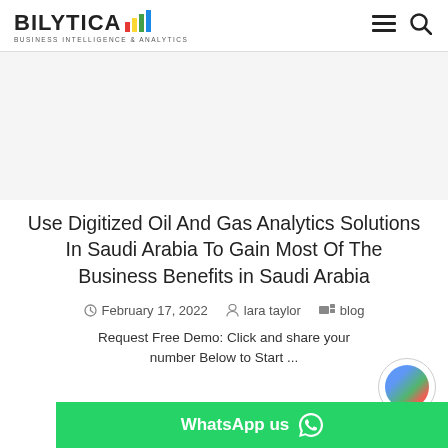BILYTICA BUSINESS INTELLIGENCE & ANALYTICS
[Figure (other): Advertisement banner placeholder area]
Use Digitized Oil And Gas Analytics Solutions In Saudi Arabia To Gain Most Of The Business Benefits in Saudi Arabia
February 17, 2022  lara taylor  blog
Request Free Demo: Click and share your number Below to Start ...
[Figure (other): WhatsApp us button bar with icon]